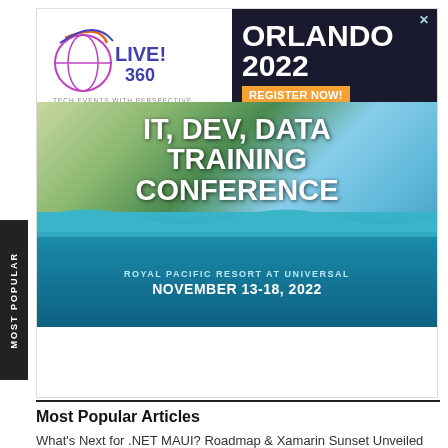[Figure (illustration): Live! 360 Tech Events With Perspective advertisement banner. Shows logo on left, Orlando 2022 with Register Now button on top right. Large banner with text IT, DEV, DATA TRAINING CONFERENCE over a resort image. Bottom section: Royal Pacific Resort at Universal, November 13-18, 2022.]
Most Popular Articles
What's Next for .NET MAUI? Roadmap & Xamarin Sunset Unveiled